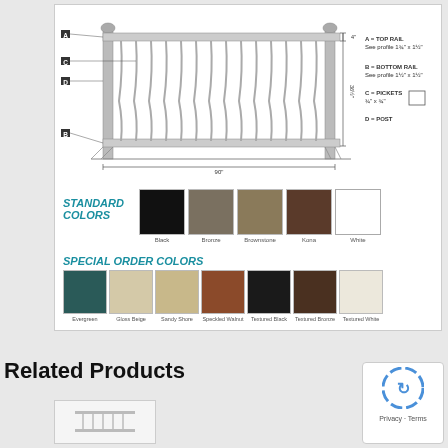[Figure (engineering-diagram): Railing panel diagram with labeled components: A=Top Rail (See profile 1¾" x 1½"), B=Bottom Rail (See profile 1½" x 1½"), C=Pickets (¾" x ¾"), D=Post. Dimensions shown: 36½" height, 4" top, 90" width.]
[Figure (infographic): Standard Colors swatches: Black, Bronze, Brownstone, Kona, White]
[Figure (infographic): Special Order Colors swatches: Evergreen, Gloss Beige, Sandy Shore, Speckled Walnut, Textured Black, Textured Bronze, Textured White]
Related Products